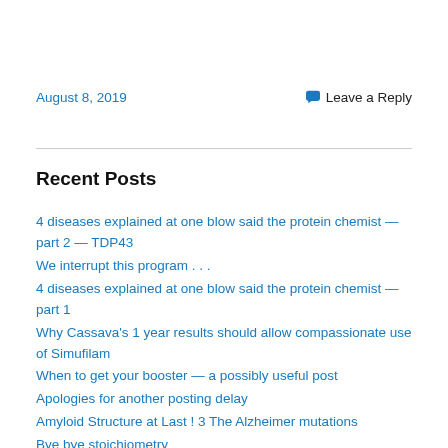August 8, 2019
💬 Leave a Reply
Recent Posts
4 diseases explained at one blow said the protein chemist — part 2 — TDP43
We interrupt this program . . .
4 diseases explained at one blow said the protein chemist — part 1
Why Cassava's 1 year results should allow compassionate use of Simufilam
When to get your booster — a possibly useful post
Apologies for another posting delay
Amyloid Structure at Last ! 3 The Alzheimer mutations
Bye bye stoichiometry